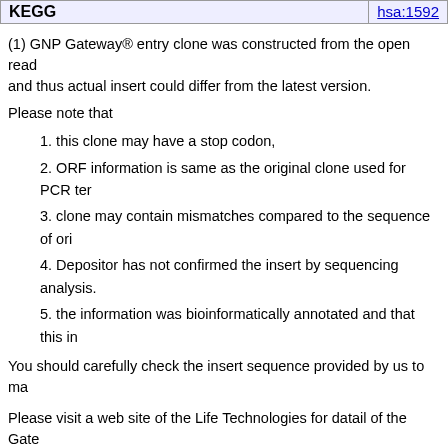| KEGG | hsa:1592 |
| --- | --- |
(1) GNP Gateway® entry clone was constructed from the open read and thus actual insert could differ from the latest version.
Please note that
1. this clone may have a stop codon,
2. ORF information is same as the original clone used for PCR tem
3. clone may contain mismatches compared to the sequence of ori
4. Depositor has not confirmed the insert by sequencing analysis.
5. the information was bioinformatically annotated and that this in
You should carefully check the insert sequence provided by us to ma
Please visit a web site of the Life Technologies for datail of the Gate http://www.invitrogen.com/site/us/en/home.html
Distribution information
| Catalog # | Clone name | Shipping fo |
| --- | --- | --- |
| HGE025116 | W01A062N04 | DNA soluti |
Sequence information
Full length sequence and restriction map are not available.